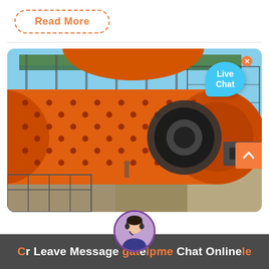Read More
[Figure (photo): Large orange industrial ball mill machine at a construction/mining site. The cylindrical drum is prominently featured with a green-roofed scaffold structure in background under blue sky. A live chat bubble overlay reads 'Live Chat' in the top right corner.]
Leave Message
Chat Online